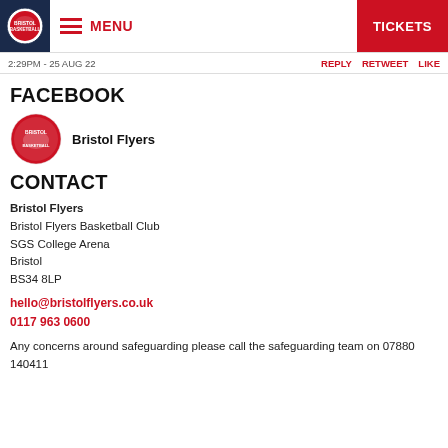MENU  TICKETS
2:29PM - 25 AUG 22    REPLY  RETWEET  LIKE
FACEBOOK
Bristol Flyers
CONTACT
Bristol Flyers
Bristol Flyers Basketball Club
SGS College Arena
Bristol
BS34 8LP
hello@bristolflyers.co.uk
0117 963 0600
Any concerns around safeguarding please call the safeguarding team on 07880 140411